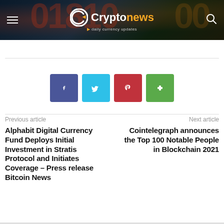Cryptonews · daily currency updates
[Figure (logo): Cryptonews logo with hamburger menu and search icon on dark banner background with large red/orange numbers]
[Figure (infographic): Four social media share buttons: Facebook (purple), Twitter (cyan), Pinterest (red), Share (green)]
Previous article
Alphabit Digital Currency Fund Deploys Initial Investment in Stratis Protocol and Initiates Coverage – Press release Bitcoin News
Next article
Cointelegraph announces the Top 100 Notable People in Blockchain 2021